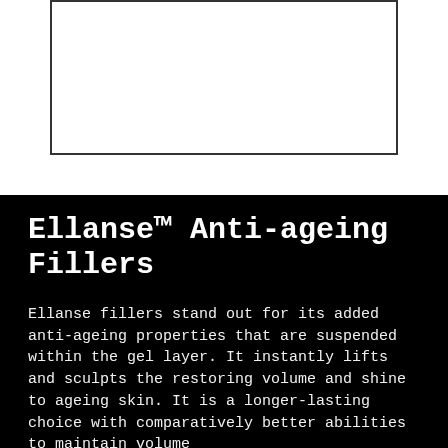[Figure (photo): White rectangular image placeholder with a border, positioned at the top of the page.]
Ellanse™ Anti-ageing Fillers
Ellanse fillers stand out for its added anti-ageing properties that are suspended within the gel layer. It instantly lifts and sculpts the restoring volume and shine to ageing skin. It is a longer-lasting choice with comparatively better abilities to maintain volume